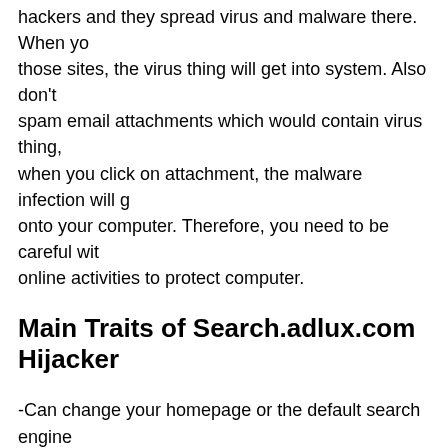hackers and they spread virus and malware there. When you those sites, the virus thing will get into system. Also don't spam email attachments which would contain virus thing, when you click on attachment, the malware infection will g onto your computer. Therefore, you need to be careful wit online activities to protect computer.
Main Traits of Search.adlux.com Hijacker
-Can change your homepage or the default search engine totally prevents you from changing them back
-Can always redirect you to other websites
-Can pop up various advertisements and sponsored links randomly to interrupt your online activities
-Can create many junk files which occupy a lot of space in drive